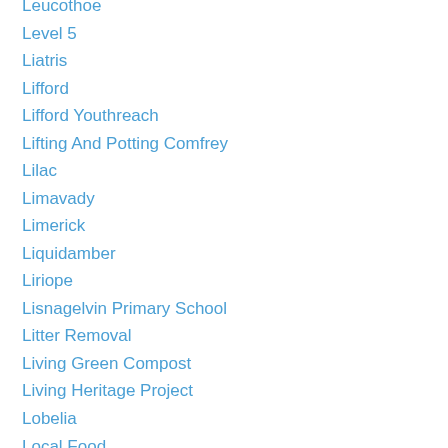Leucothoe
Level 5
Liatris
Lifford
Lifford Youthreach
Lifting And Potting Comfrey
Lilac
Limavady
Limerick
Liquidamber
Liriope
Lisnagelvin Primary School
Litter Removal
Living Green Compost
Living Heritage Project
Lobelia
Local Food
Londonderry
Lord & Lady Dunleth
Lord Marshall
Loughermore Forest